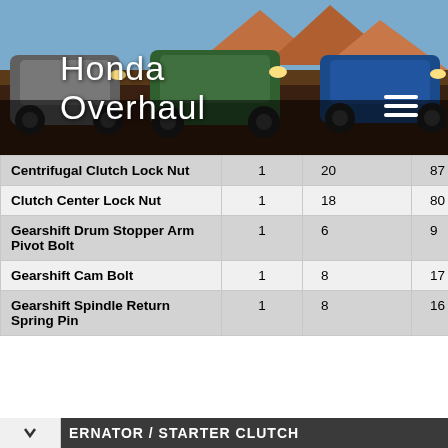[Figure (photo): Banner photo of three Honda ATVs on rocky desert terrain with red rock formations in background. Overlaid with 'Honda Overhaul' text in white and a hamburger menu icon.]
Honda Overhaul
| Centrifugal Clutch Lock Nut | 1 | 20 | 87 |
| Clutch Center Lock Nut | 1 | 18 | 80 |
| Gearshift Drum Stopper Arm Pivot Bolt | 1 | 6 | 9 |
| Gearshift Cam Bolt | 1 | 8 | 17 |
| Gearshift Spindle Return Spring Pin | 1 | 8 | 16 |
ERNATOR / STARTER CLUTCH